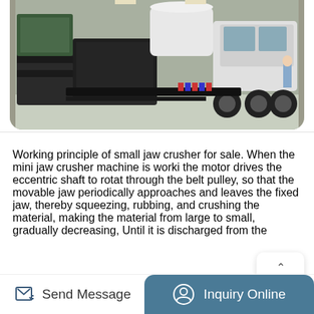[Figure (photo): A mobile jaw crusher machine mounted on a truck trailer, photographed inside an industrial warehouse. The crusher is large, black/dark colored, with heavy steel frame construction. A white tank is visible on top. The truck has dual rear wheels.]
Working principle of small jaw crusher for sale. When the mini jaw crusher machine is worki the motor drives the eccentric shaft to rotat through the belt pulley, so that the movable jaw periodically approaches and leaves the fixed jaw, thereby squeezing, rubbing, and crushing the material, making the material from large to small, gradually decreasing, Until it is discharged from the
Send Message  |  Inquiry Online